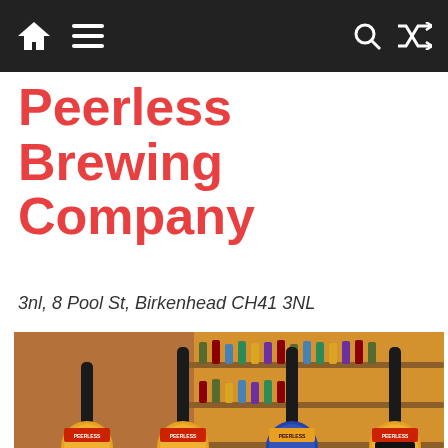Navigation bar with home, menu, search, and shuffle icons
Peerless Brewing Company
3nl, 8 Pool St, Birkenhead CH41 3NL
[Figure (photo): Four Peerless Brewing Company beer taps on a wooden bar counter in a pub setting. Tap badges visible: Sunny Hop, (one partially obscured), IPA, and Oatmeal Stout. Shelves of bottles visible in the background. Warm amber lighting.]